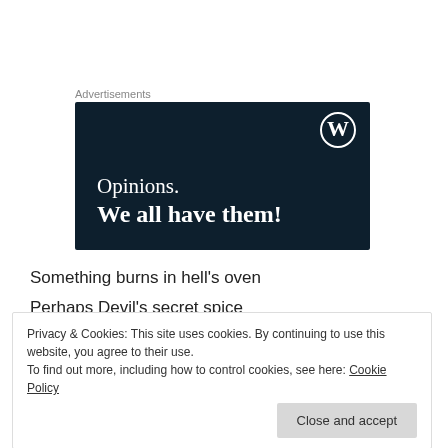Advertisements
[Figure (illustration): WordPress advertisement banner with dark navy background, WordPress logo (W in circle) top right, text reading 'Opinions. We all have them!' in white serif font.]
Something burns in hell's oven
Perhaps Devil's secret spice
Privacy & Cookies: This site uses cookies. By continuing to use this website, you agree to their use.
To find out more, including how to control cookies, see here: Cookie Policy
have a piece of the forbidden pie